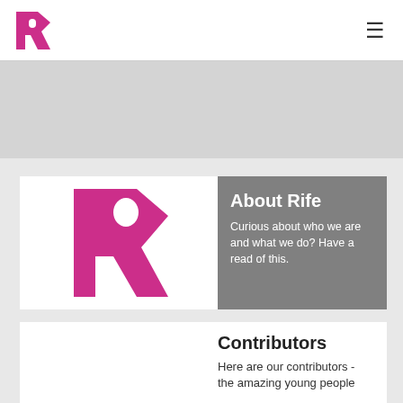R [logo] | hamburger menu
[Figure (other): Gray banner placeholder area below the header]
[Figure (logo): Rife magazine large pink R logo on white background, left panel of About Rife card]
About Rife
Curious about who we are and what we do? Have a read of this.
Contributors
Here are our contributors - the amazing young people